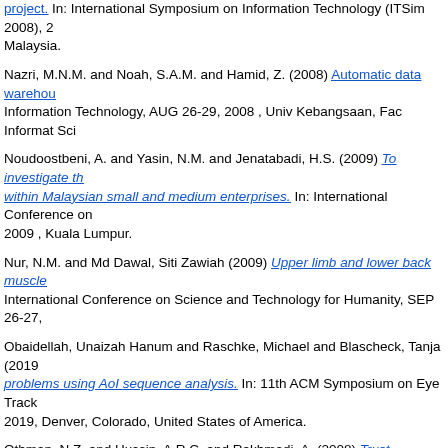project. In: International Symposium on Information Technology (ITSim 2008), 2008, Malaysia.
Nazri, M.N.M. and Noah, S.A.M. and Hamid, Z. (2008) Automatic data warehouse... Information Technology, AUG 26-29, 2008 , Univ Kebangsaan, Fac Informat Sci...
Noudoostbeni, A. and Yasin, N.M. and Jenatabadi, H.S. (2009) To investigate th... within Malaysian small and medium enterprises. In: International Conference on... 2009 , Kuala Lumpur.
Nur, N.M. and Md Dawal, Siti Zawiah (2009) Upper limb and lower back muscle... International Conference on Science and Technology for Humanity, SEP 26-27,
Obaidellah, Unaizah Hanum and Raschke, Michael and Blascheck, Tanja (2019) problems using AoI sequence analysis. In: 11th ACM Symposium on Eye Track... 2019, Denver, Colorado, United States of America.
Othman, N.Z. and Hussin, A.R.C. and Rakhmadi, A. (2008) Trust mechanisms:... development process. In: International Symposium on Information Technology, A... Technol, Kuala Lumpur, MALAYSIA .
Othman, W.S.N.A.W. and Mohd Shuib, N.L. and Normadhi, N.B.A. (2017) Acad... 1st International Conference on Industrial, Enterprise, and System Engineering... Trans Luxury Hotel, Bandung, Indonesia.
Othman, Z.A. and Razak, Z. and Abdullah, N.A. and Yusoff, M.Y.Z.B. (2009) Ja... and neural network for effective reading. In: 3rd Asia International Conference o... Bundang, INDONESIA.
Ow, S.H. (2017) Using a computer game to assess the critical thinking skills of p... Learning, e-Management and e-Services (IC3e 2017), 16-17 November 2017, K...